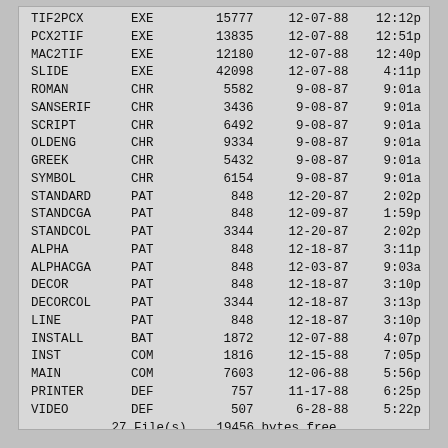| Name | Ext | Size | Date | Time |
| --- | --- | --- | --- | --- |
| TIF2PCX | EXE | 15777 | 12-07-88 | 12:12p |
| PCX2TIF | EXE | 13835 | 12-07-88 | 12:51p |
| MAC2TIF | EXE | 12180 | 12-07-88 | 12:40p |
| SLIDE | EXE | 42098 | 12-07-88 | 4:11p |
| ROMAN | CHR | 5582 | 9-08-87 | 9:01a |
| SANSERIF | CHR | 3436 | 9-08-87 | 9:01a |
| SCRIPT | CHR | 6492 | 9-08-87 | 9:01a |
| OLDENG | CHR | 9334 | 9-08-87 | 9:01a |
| GREEK | CHR | 5432 | 9-08-87 | 9:01a |
| SYMBOL | CHR | 6154 | 9-08-87 | 9:01a |
| STANDARD | PAT | 848 | 12-20-87 | 2:02p |
| STANDCGA | PAT | 848 | 12-09-87 | 1:59p |
| STANDCOL | PAT | 3344 | 12-20-87 | 2:02p |
| ALPHA | PAT | 848 | 12-18-87 | 3:11p |
| ALPHACGA | PAT | 848 | 12-03-87 | 9:03a |
| DECOR | PAT | 848 | 12-18-87 | 3:10p |
| DECORCOL | PAT | 3344 | 12-18-87 | 3:13p |
| LINE | PAT | 848 | 12-18-87 | 3:10p |
| INSTALL | BAT | 1872 | 12-07-88 | 4:07p |
| INST | COM | 1816 | 12-15-88 | 7:05p |
| MAIN | COM | 7603 | 12-06-88 | 5:56p |
| PRINTER | DEF | 757 | 11-17-88 | 6:25p |
| VIDEO | DEF | 507 | 6-28-88 | 5:22p |
|  |  | 27 File(s) | 19456 bytes free |  |